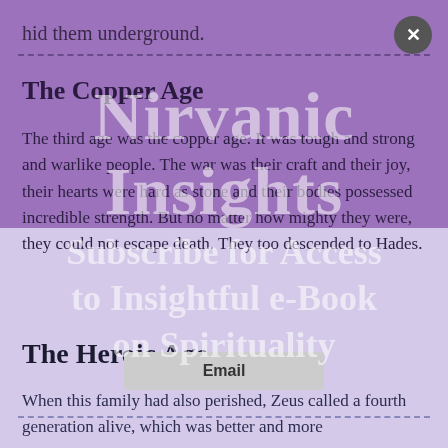hid them underground.
The Copper Age
The third age was the copper age. It was tough and strong and warlike people. The war was their craft and their joy, their hearts were hard as stone and their bodies possessed incredible strength. But no matter how mighty they were, they could not escape death. They too descended to Hades.
The Heroic Age
When this family had also perished, Zeus called a fourth generation alive, which was better and more
[Figure (other): Subscription overlay watermark reading 'Nirvanic Insights Subscribe for Access to Insightful e-Book on Spirituality' with email input button]